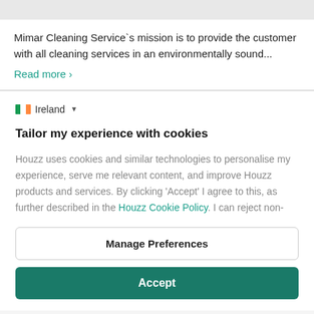Mimar Cleaning Service`s mission is to provide the customer with all cleaning services in an environmentally sound...
Read more ›
Ireland
Tailor my experience with cookies
Houzz uses cookies and similar technologies to personalise my experience, serve me relevant content, and improve Houzz products and services. By clicking 'Accept' I agree to this, as further described in the Houzz Cookie Policy. I can reject non-
Manage Preferences
Accept